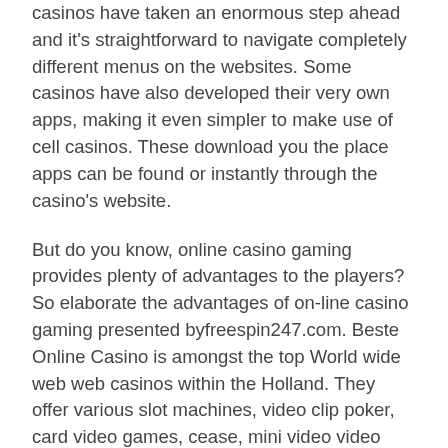casinos have taken an enormous step ahead and it's straightforward to navigate completely different menus on the websites. Some casinos have also developed their very own apps, making it even simpler to make use of cell casinos. These download you the place apps can be found or instantly through the casino's website.
But do you know, online casino gaming provides plenty of advantages to the players? So elaborate the advantages of on-line casino gaming presented byfreespin247.com. Beste Online Casino is amongst the top World wide web web casinos within the Holland. They offer various slot machines, video clip poker, card video games, cease, mini video video games, horse races, keno, recreation video video games, modern casino recreation titles, craps, poker and likewise other online games. Many lots of of online casinos are discovered on the Internet, and their